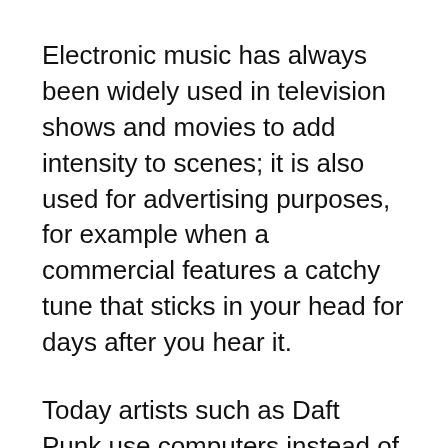Electronic music has always been widely used in television shows and movies to add intensity to scenes; it is also used for advertising purposes, for example when a commercial features a catchy tune that sticks in your head for days after you hear it.
Today artists such as Daft Punk use computers instead of traditional instruments like guitars and drums when performing live so they can create a more complex soundscape than they could if they were playing instruments alone
Electronic music used to be a niche genre, but now it's mainstream. The sounds of the genre can be heard even deep in the music industry, to the